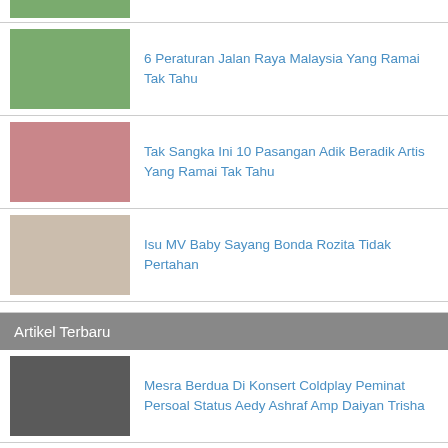[Figure (photo): Partial thumbnail strip at top of page, greenish outdoor scene]
6 Peraturan Jalan Raya Malaysia Yang Ramai Tak Tahu
Tak Sangka Ini 10 Pasangan Adik Beradik Artis Yang Ramai Tak Tahu
Isu MV Baby Sayang Bonda Rozita Tidak Pertahan
Artikel Terbaru
Mesra Berdua Di Konsert Coldplay Peminat Persoal Status Aedy Ashraf Amp Daiyan Trisha
Penghuni Pusat Pemulihan Dadah Maut Dipercayai Selepas Kejadian Amuk
Junta Myanmar Sedia Runding Dengan Suu Kyi